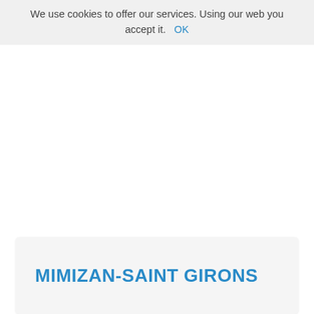We use cookies to offer our services. Using our web you accept it. OK
MIMIZAN-SAINT GIRONS